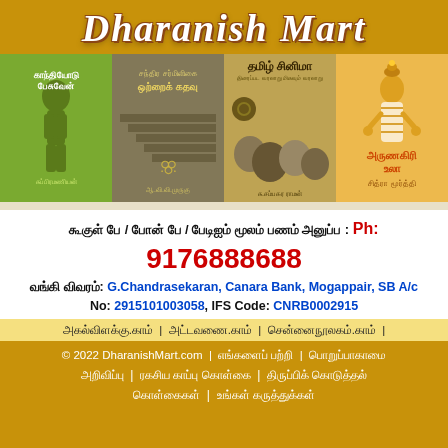Dharanish Mart
[Figure (illustration): Four Tamil book covers side by side: 1) Green cover with Tamil text 'காந்தியோடு பேசுவேன்', 2) Olive/grey cover with Tamil text 'ஒற்றைக் கதவு', 3) Sepia cover 'தமிழ் சினிமா' with film images, 4) Orange cover 'அருணகிரி உலா' with deity illustration]
கூகுள் பே / போன் பே / பேடிஐம் மூலம் பணம் அனுப்ப : Ph: 9176888688
வங்கி விவரம்: G.Chandrasekaran, Canara Bank, Mogappair, SB A/c No: 2915101003058, IFS Code: CNRB0002915
அகல்விளக்கு.காம் | அட்டவணை.காம் | சென்னைநூலகம்.காம் |
© 2022 DharanishMart.com | எங்களைப் பற்றி | பொறுப்பாகாமை அறிவிப்பு | ரகசிய காப்பு கொள்கை | திருப்பிக் கொடுத்தல் கொள்கைகள் | உங்கள் கருத்துக்கள்